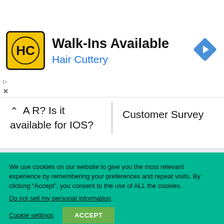[Figure (screenshot): Hair Cuttery advertisement banner with yellow HC logo, title 'Walk-Ins Available', subtitle 'Hair Cuttery' in blue, and a blue navigation diamond icon on the right.]
A R? Is it available for IOS?
Customer Survey
We use cookies on our website to give you the most relevant experience by remembering your preferences and repeat visits. By clicking “Accept”, you consent to the use of ALL the cookies.
Do not sell my personal information.
Cookie settings
ACCEPT